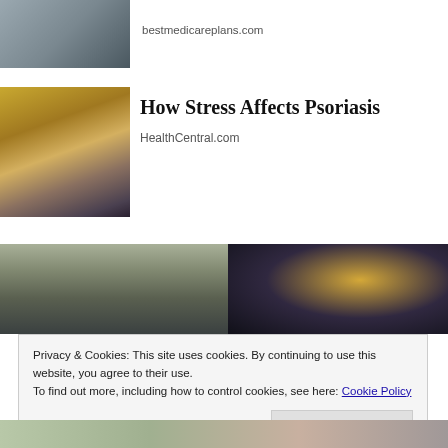[Figure (photo): Partial view of building exterior with stairs and railing]
bestmedicareplans.com
[Figure (photo): Woman in yellow sweater looking at her arm, possibly examining skin condition like psoriasis]
How Stress Affects Psoriasis
HealthCentral.com
[Figure (photo): Wide pharmacy store image showing shelves with products and bokeh lights]
Privacy & Cookies: This site uses cookies. By continuing to use this website, you agree to their use.
To find out more, including how to control cookies, see here: Cookie Policy
[Figure (photo): Partial bottom strip image]